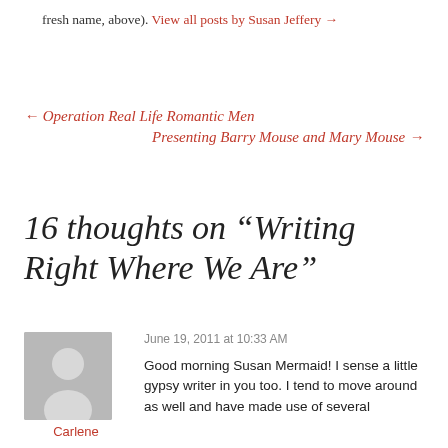fresh name, above). View all posts by Susan Jeffery →
← Operation Real Life Romantic Men
Presenting Barry Mouse and Mary Mouse →
16 thoughts on “Writing Right Where We Are”
June 19, 2011 at 10:33 AM
Carlene
Good morning Susan Mermaid! I sense a little gypsy writer in you too. I tend to move around as well and have made use of several